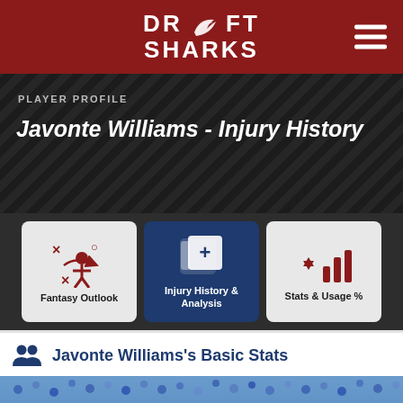DRAFT SHARKS
Javonte Williams - Injury History
PLAYER PROFILE
[Figure (screenshot): Navigation tabs: Fantasy Outlook, Injury History & Analysis (active), Stats & Usage %]
Javonte Williams's Basic Stats
[Figure (photo): Football player wearing blue helmet and uniform on game day with crowd in background]